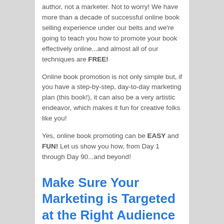author, not a marketer. Not to worry! We have more than a decade of successful online book selling experience under our belts and we're going to teach you how to promote your book effectively online...and almost all of our techniques are FREE!
Online book promotion is not only simple but, if you have a step-by-step, day-to-day marketing plan (this book!), it can also be a very artistic endeavor, which makes it fun for creative folks like you!
Yes, online book promoting can be EASY and FUN! Let us show you how, from Day 1 through Day 90...and beyond!
Make Sure Your Marketing is Targeted at the Right Audience